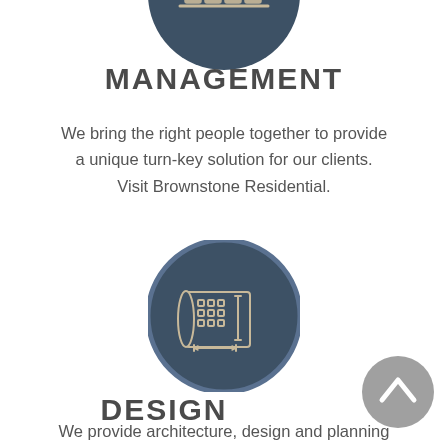[Figure (illustration): Partial dark navy circle icon at top of page showing a bar chart / management icon, cropped at top]
MANAGEMENT
We bring the right people together to provide a unique turn-key solution for our clients. Visit Brownstone Residential.
[Figure (illustration): Dark navy circle icon containing a blueprint/architectural drawing icon with measurement arrows]
DESIGN
We provide architecture, design and planning
[Figure (other): Grey circular back-to-top button with upward chevron arrow]